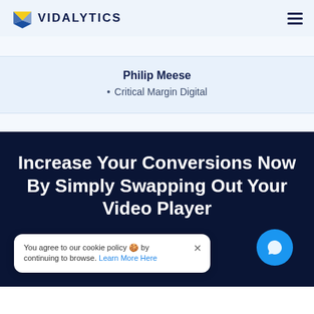VIDALYTICS
Philip Meese
Critical Margin Digital
Increase Your Conversions Now By Simply Swapping Out Your Video Player
You agree to our cookie policy 🍪 by continuing to browse. Learn More Here